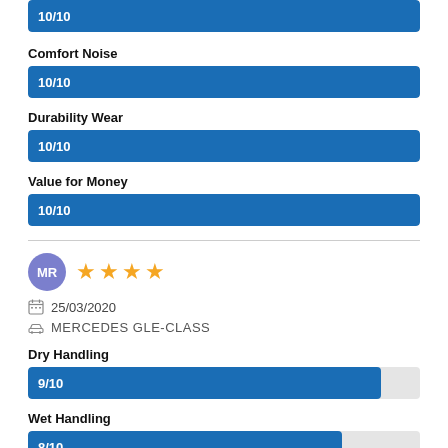[Figure (infographic): Blue progress bar showing 10/10 rating, partially visible at top]
Comfort Noise
[Figure (bar-chart): Comfort Noise]
Durability Wear
[Figure (bar-chart): Durability Wear]
Value for Money
[Figure (bar-chart): Value for Money]
MR  25/03/2020  MERCEDES GLE-CLASS  4 stars
Dry Handling
[Figure (bar-chart): Dry Handling]
Wet Handling
[Figure (bar-chart): Wet Handling]